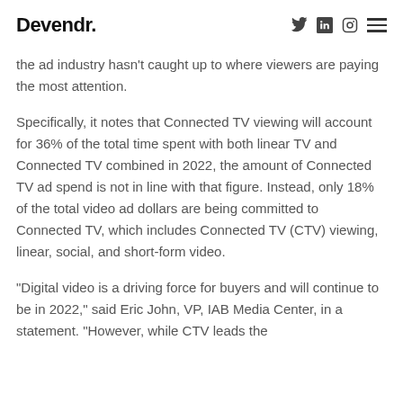Devendr.
the ad industry hasn't caught up to where viewers are paying the most attention.
Specifically, it notes that Connected TV viewing will account for 36% of the total time spent with both linear TV and Connected TV combined in 2022, the amount of Connected TV ad spend is not in line with that figure. Instead, only 18% of the total video ad dollars are being committed to Connected TV, which includes Connected TV (CTV) viewing, linear, social, and short-form video.
“Digital video is a driving force for buyers and will continue to be in 2022,” said Eric John, VP, IAB Media Center, in a statement. “However, while CTV leads the